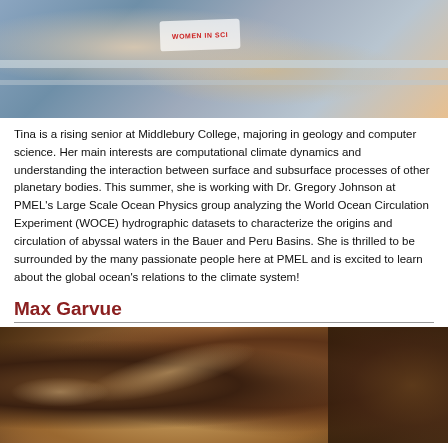[Figure (photo): Photo of Tina, a young woman wearing a white t-shirt with red text, standing near metal railings outdoors]
Tina is a rising senior at Middlebury College, majoring in geology and computer science. Her main interests are computational climate dynamics and understanding the interaction between surface and subsurface processes of other planetary bodies. This summer, she is working with Dr. Gregory Johnson at PMEL's Large Scale Ocean Physics group analyzing the World Ocean Circulation Experiment (WOCE) hydrographic datasets to characterize the origins and circulation of abyssal waters in the Bauer and Peru Basins. She is thrilled to be surrounded by the many passionate people here at PMEL and is excited to learn about the global ocean's relations to the climate system!
Max Garvue
[Figure (photo): Close-up photo of brown and reddish rock formations with layered geological structures]